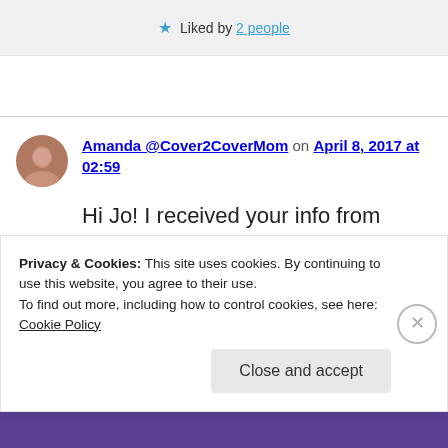★ Liked by 2 people
Amanda @Cover2CoverMom on April 8, 2017 at 02:59
Hi Jo! I received your info from Chelsea @The Suspense is Thrilling Me. I am working on a
Privacy & Cookies: This site uses cookies. By continuing to use this website, you agree to their use.
To find out more, including how to control cookies, see here: Cookie Policy
Close and accept